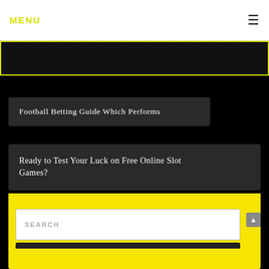MENU
Football Betting Guide Which Performs
Ready to Test Your Luck on Free Online Slot Games?
SEARCH
SUBMIT